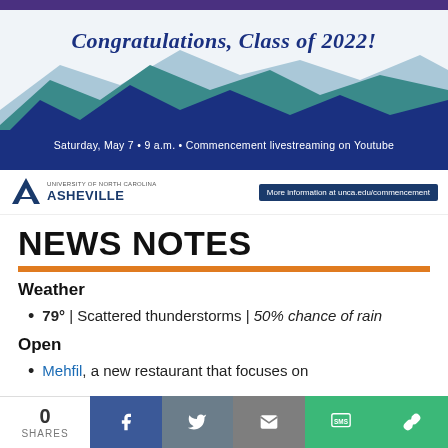[Figure (illustration): Commencement banner for UNC Asheville Class of 2022 with mountain silhouettes in blue/teal, cursive text 'Congratulations, Class of 2022!', dark blue banner 'Saturday, May 7 · 9 a.m. · Commencement livestreaming on Youtube', and UNC Asheville logo with 'More information at unca.edu/commencement' button]
NEWS NOTES
Weather
79° | Scattered thunderstorms | 50% chance of rain
Open
Mehfil, a new restaurant that focuses on